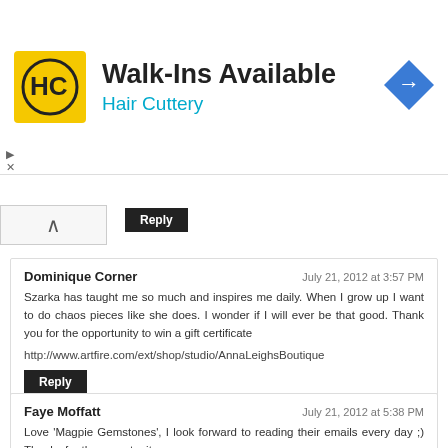[Figure (logo): Hair Cuttery advertisement banner with HC logo, 'Walk-Ins Available' headline, 'Hair Cuttery' subtext in cyan, and a blue navigation arrow icon]
Reply
Dominique Corner
July 21, 2012 at 3:57 PM

Szarka has taught me so much and inspires me daily. When I grow up I want to do chaos pieces like she does. I wonder if I will ever be that good. Thank you for the opportunity to win a gift certificate

http://www.artfire.com/ext/shop/studio/AnnaLeighsBoutique

Reply
Faye Moffatt
July 21, 2012 at 5:38 PM

Love 'Magpie Gemstones', I look forward to reading their emails every day ;) Thanks for the opportunity.